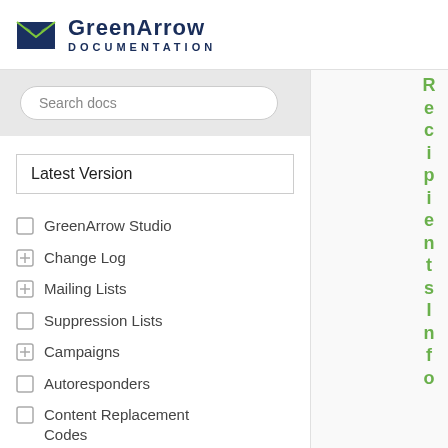[Figure (logo): GreenArrow Documentation logo with envelope icon and text]
Search docs
Latest Version
GreenArrow Studio
Change Log
Mailing Lists
Suppression Lists
Campaigns
Autoresponders
Content Replacement Codes
Supported Browsers
Recipients Info (vertical text on right side)